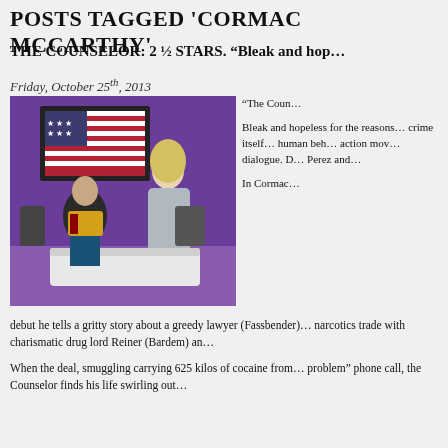POSTS TAGGED 'CORMAC MCCARTHY'
THE COUNSELOR: 2 ½ STARS. "Bleak and hop..."
Friday, October 25th, 2013
[Figure (photo): Movie still from The Counselor showing two characters in a purple-walled room with an American flag poster]
"The Coun... Bleak and hopeless for the reasons... crime itself... human beh... action mov... dialogue. D... Perez and...
In Cormac... debut he tells a gritty story about a greedy lawyer (Fassbender)... narcotics trade with charismatic drug lord Reiner (Bardem) an...
When the deal, smuggling carrying 625 kilos of cocaine from... problem" phone call, the Counselor finds his life swirling out...